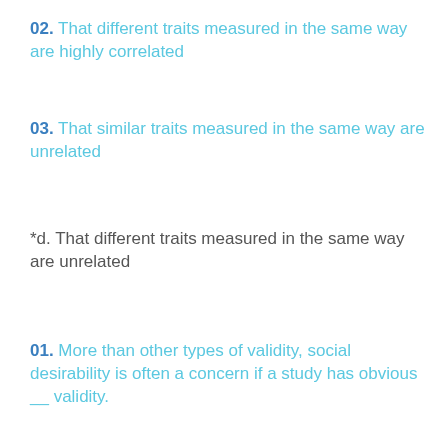02. That different traits measured in the same way are highly correlated
03. That similar traits measured in the same way are unrelated
*d. That different traits measured in the same way are unrelated
01. More than other types of validity, social desirability is often a concern if a study has obvious __ validity.